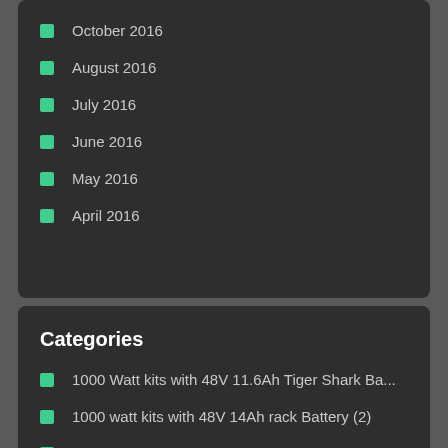October 2016
August 2016
July 2016
June 2016
May 2016
April 2016
Categories
1000 Watt kits with 48V 11.6Ah Tiger Shark Ba...
1000 watt kits with 48V 14Ah rack Battery (2)
1000 Watt kits with 48V 17.5Ah Tiger Shark Ba...
1000 watt kits with 48V 17Ah Rack Battery (2)
200, 350 & 500 Watt conversion kits Panasoni...